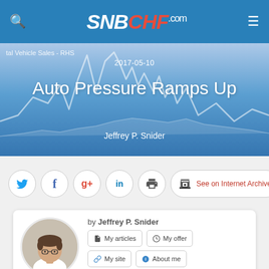SNBCHF.com
[Figure (screenshot): Hero banner with line chart background showing vehicle sales data, date 2017-05-10, title 'Auto Pressure Ramps Up', author 'Jeffrey P. Snider']
tal Vehicle Sales - RHS
2017-05-10
Auto Pressure Ramps Up
Jeffrey P. Snider
[Figure (infographic): Social sharing buttons: Twitter, Facebook, Google+, LinkedIn, Print, and 'See on Internet Archive' button]
[Figure (infographic): Author card with photo of Jeffrey P. Snider and buttons: My articles, My offer, My site, About me, My videos, My books, and Follow on: LinkedIn, Twitter, Alpha icons]
by Jeffrey P. Snider